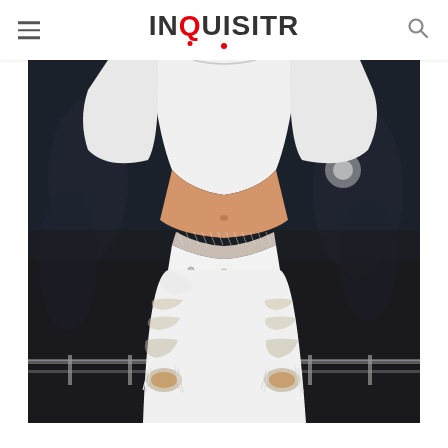INQUISITR
[Figure (photo): Close-up photo of a person wearing a white crop top and white distressed/ripped denim jeans with a fishnet waistband detail, photographed from the front showing the midriff area. Crowd and barricades visible in background.]